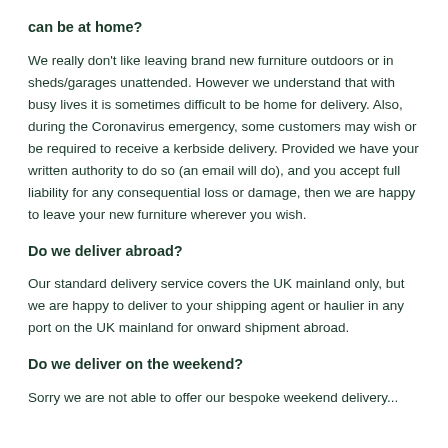can be at home?
We really don't like leaving brand new furniture outdoors or in sheds/garages unattended. However we understand that with busy lives it is sometimes difficult to be home for delivery. Also, during the Coronavirus emergency, some customers may wish or be required to receive a kerbside delivery. Provided we have your written authority to do so (an email will do), and you accept full liability for any consequential loss or damage, then we are happy to leave your new furniture wherever you wish.
Do we deliver abroad?
Our standard delivery service covers the UK mainland only, but we are happy to deliver to your shipping agent or haulier in any port on the UK mainland for onward shipment abroad.
Do we deliver on the weekend?
Sorry we are not able to offer our bespoke weekend delivery...